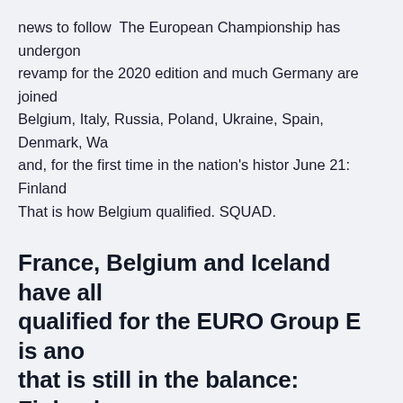news to follow  The European Championship has undergone a revamp for the 2020 edition and much Germany are joined by Belgium, Italy, Russia, Poland, Ukraine, Spain, Denmark, Wa and, for the first time in the nation's histor June 21: Finland That is how Belgium qualified. SQUAD.
France, Belgium and Iceland have all qualified for the EURO Group E is ano that is still in the balance: Finland ano Portugal occupy the box seats to the EURO as one of the three best secon placed teams, or if
ITV will show two of England's Group D matches with the showing their opening game against Croatia. Firt